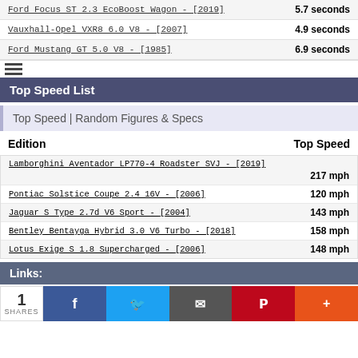Ford Focus ST 2.3 EcoBoost Wagon - [2019] | 5.7 seconds
Vauxhall-Opel VXR8 6.0 V8 - [2007] | 4.9 seconds
Ford Mustang GT 5.0 V8 - [1985] | 6.9 seconds
Top Speed List
Top Speed | Random Figures & Specs
| Edition | Top Speed |
| --- | --- |
| Lamborghini Aventador LP770-4 Roadster SVJ - [2019] | 217 mph |
| Pontiac Solstice Coupe 2.4 16V - [2006] | 120 mph |
| Jaguar S Type 2.7d V6 Sport - [2004] | 143 mph |
| Bentley Bentayga Hybrid 3.0 V6 Turbo - [2018] | 158 mph |
| Lotus Exige S 1.8 Supercharged - [2006] | 148 mph |
Links:
1 SHARES